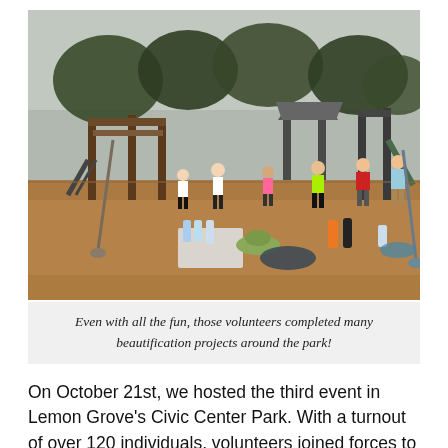[Figure (photo): Volunteers working at a playground in Lemon Grove's Civic Center Park. People are spread across a wood-chip covered playground with climbing structures, slides, and a gazebo. In the foreground are water bottles, a hat, gloves, and supplies on the ground.]
Even with all the fun, those volunteers completed many beautification projects around the park!
On October 21st, we hosted the third event in Lemon Grove's Civic Center Park. With a turnout of over 120 individuals, volunteers joined forces to remove litter – collecting 128 pounds of trash and 28 pounds of